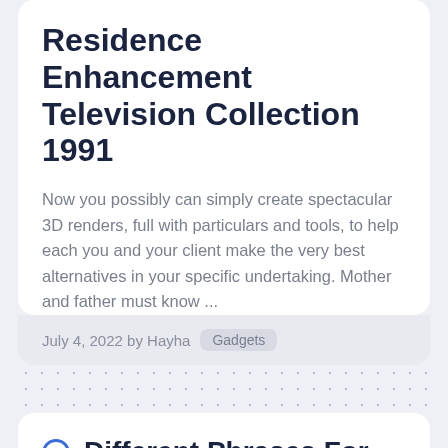Residence Enhancement Television Collection 1991
Now you possibly can simply create spectacular 3D renders, full with particulars and tools, to help each you and your client make the very best alternatives in your specific undertaking. Mother and father must know ...
July 4, 2022 by Hayha  Gadgets
Different Phrases For Training
College Of Educational Science